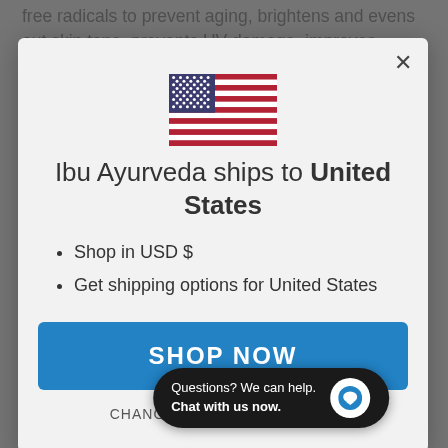free radicals to prevent aging, brightens and evens out skin tone, prevents UV damage, improves collagen synthesis,
[Figure (screenshot): Modal dialog showing US flag, text 'Ibu Ayurveda ships to United States', bullet points 'Shop in USD $' and 'Get shipping options for United States', a blue 'SHOP NOW' button, and a 'CHANGE SHIPPING COUNTRY' link. A chat widget at the bottom reads 'Questions? We can help. Chat with us now.']
rollers and gua sha crystals. Just like these tools, Kansa